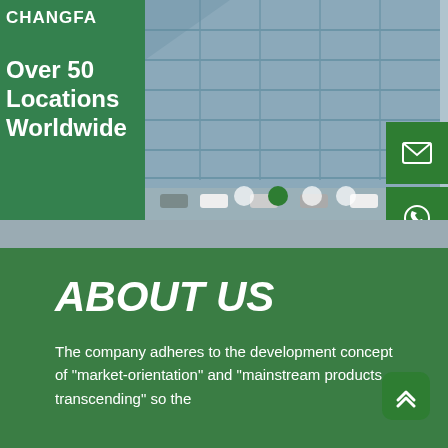[Figure (photo): Hero section showing a glass office building facade with a green overlay panel on the left displaying the Changfa logo and 'Over 50 Locations worldwide' text. A carousel with dots at the bottom and green icon buttons on the right for email, phone, call, and contact.]
ABOUT US
The company adheres to the development concept of "market-orientation" and "mainstream products transcending" so the